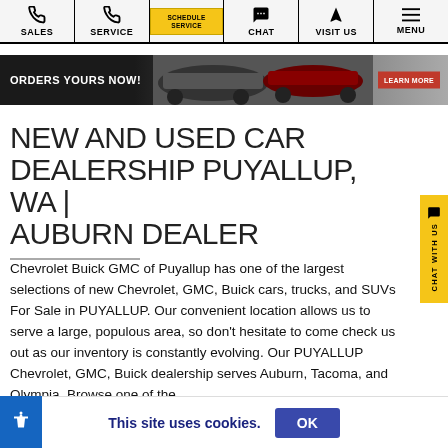SALES | SERVICE | SCHEDULE SERVICE | CHAT | VISIT US | MENU
[Figure (screenshot): Promotional banner showing cars with text ORDER YOURS NOW! and LEARN MORE button]
NEW AND USED CAR DEALERSHIP PUYALLUP, WA | AUBURN DEALER
Chevrolet Buick GMC of Puyallup has one of the largest selections of new Chevrolet, GMC, Buick cars, trucks, and SUVs For Sale in PUYALLUP. Our convenient location allows us to serve a large, populous area, so don't hesitate to come check us out as our inventory is constantly evolving. Our PUYALLUP Chevrolet, GMC, Buick dealership serves Auburn, Tacoma, and Olympia. Browse one of the
This site uses cookies.  OK